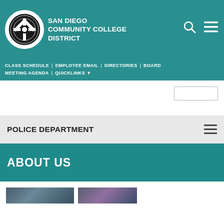SAN DIEGO COMMUNITY COLLEGE DISTRICT
CLASS SCHEDULE | EMPLOYEE EMAIL | DIRECTORIES | BOARD MEETING AGENDA | QUICKLINKS
POLICE DEPARTMENT
ABOUT US
[Figure (photo): Two partial photo thumbnails showing police-related imagery]